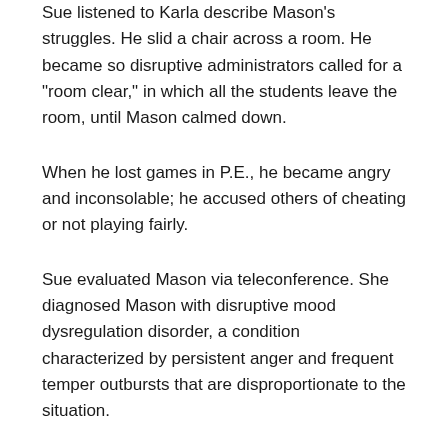Sue listened to Karla describe Mason's struggles. He slid a chair across a room. He became so disruptive administrators called for a "room clear," in which all the students leave the room, until Mason calmed down.
When he lost games in P.E., he became angry and inconsolable; he accused others of cheating or not playing fairly.
Sue evaluated Mason via teleconference. She diagnosed Mason with disruptive mood dysregulation disorder, a condition characterized by persistent anger and frequent temper outbursts that are disproportionate to the situation.